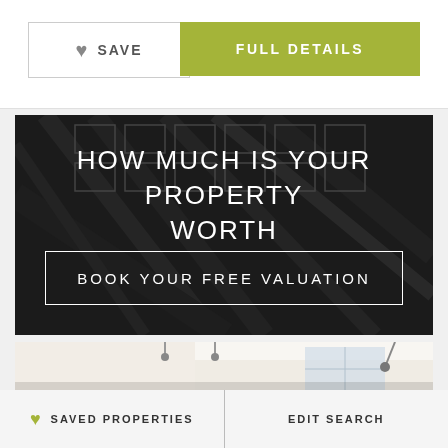SAVE
FULL DETAILS
HOW MUCH IS YOUR PROPERTY WORTH
BOOK YOUR FREE VALUATION
[Figure (photo): Interior room photo showing a bright modern space with high ceilings, track lighting, industrial-style fixtures, and large windows.]
SAVED PROPERTIES
EDIT SEARCH